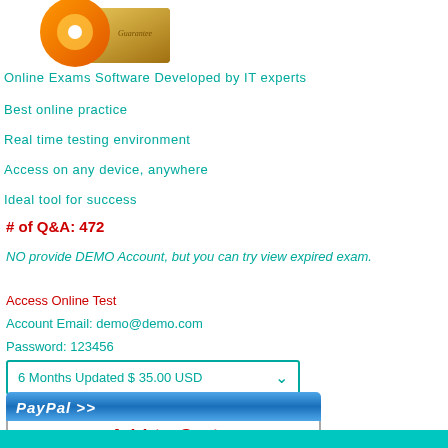[Figure (illustration): Orange and gold CD/DVD product box with guarantee seal logo at the top]
Online Exams Software Developed by IT experts
Best online practice
Real time testing environment
Access on any device, anywhere
Ideal tool for success
# of Q&A: 472
NO provide DEMO Account, but you can try view expired exam.
Access Online Test
Account Email: demo@demo.com
Password: 123456
[Figure (screenshot): Dropdown selector showing 6 Months Updated $ 35.00 USD]
[Figure (screenshot): PayPal Add to Cart button with credit card logos (Visa, MasterCard, Discover, etc.)]